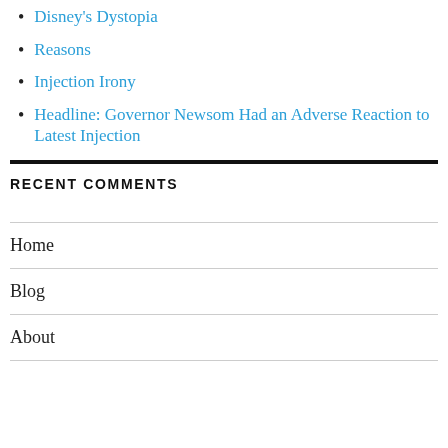Disney's Dystopia
Reasons
Injection Irony
Headline: Governor Newsom Had an Adverse Reaction to Latest Injection
RECENT COMMENTS
Home
Blog
About